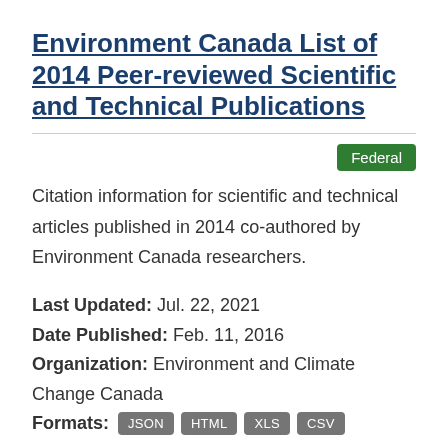Environment Canada List of 2014 Peer-reviewed Scientific and Technical Publications
Federal
Citation information for scientific and technical articles published in 2014 co-authored by Environment Canada researchers.
Last Updated: Jul. 22, 2021
Date Published: Feb. 11, 2016
Organization: Environment and Climate Change Canada
Formats: JSON HTML XLS CSV